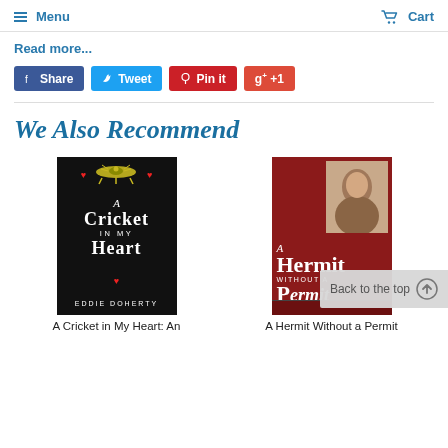Menu  Cart
Read more...
[Figure (screenshot): Social sharing buttons: Share (Facebook, blue), Tweet (Twitter, light blue), Pin it (Pinterest, red), g+ +1 (Google+, red-orange)]
We Also Recommend
[Figure (photo): Book cover: A Cricket in My Heart by Eddie Doherty. Black cover with cricket illustration, red hearts, white serif title text.]
[Figure (photo): Book cover: A Hermit Without a Permit. Red cover with author photo, white serif title text.]
A Cricket in My Heart: An
A Hermit Without a Permit